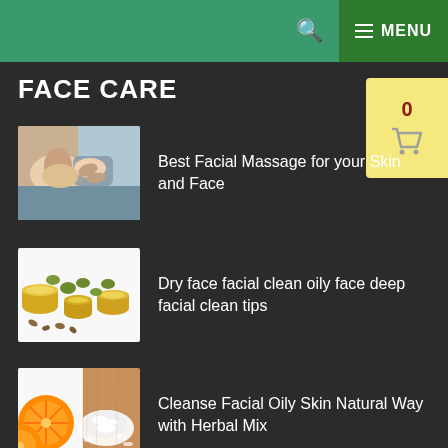MENU
FACE CARE
Best Facial Massage for your Skin and Face
Dry face facial clean oily face deep facial clean tips
Cleanse Facial Oily Skin Natural Way with Herbal Mix